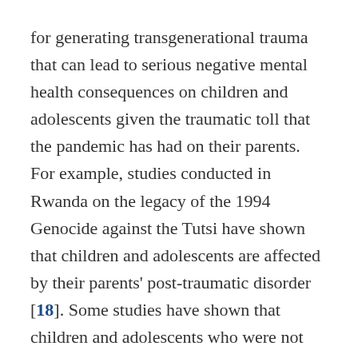for generating transgenerational trauma that can lead to serious negative mental health consequences on children and adolescents given the traumatic toll that the pandemic has had on their parents. For example, studies conducted in Rwanda on the legacy of the 1994 Genocide against the Tutsi have shown that children and adolescents are affected by their parents' post-traumatic disorder [18]. Some studies have shown that children and adolescents who were not even born at the time of these dramatic events were still affected [19].
At a systems-level, there was already a severe shortage of mental health care professionals worldwide prior to COVID-19 [20]. This shortage is worse when it comes